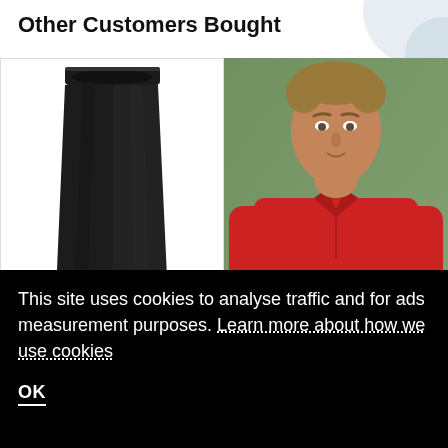Other Customers Bought
[Figure (photo): Black sweatpants/joggers on white background]
[Figure (photo): Man wearing a red polo shirt against a green wall background]
This site uses cookies to analyse traffic and for ads measurement purposes. Learn more about how we use cookies
OK